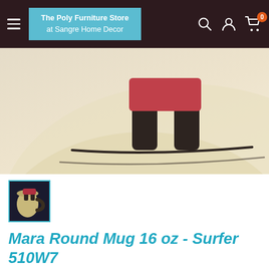The Poly Furniture Store at Sangre Home Decor
[Figure (photo): Close-up of a Mara stoneware round mug showing a surfer figure painted on the ceramic surface in earthy tones with dark outline and red/pink accents. Dark handle visible on right.]
[Figure (photo): Small thumbnail of the Mara Round Mug 16oz - Surfer 510W7 showing the full mug with dark background]
Mara Round Mug 16 oz - Surfer 510W7
MARA STONEWARE